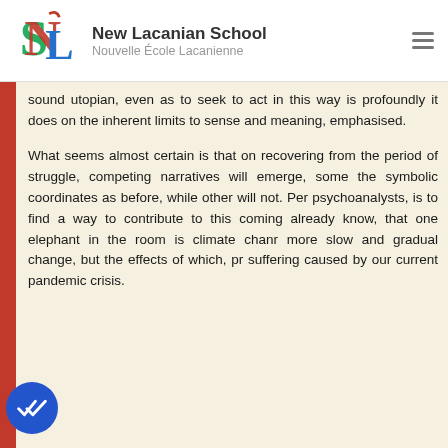New Lacanian School / Nouvelle École Lacanienne
sound utopian, even as to seek to act in this way is profoundly it does on the inherent limits to sense and meaning, emphasised.
What seems almost certain is that on recovering from the period of struggle, competing narratives will emerge, some the symbolic coordinates as before, while other will not. Pe psychoanalysts, is to find a way to contribute to this comin already know, that one elephant in the room is climate char more slow and gradual change, but the effects of which, pr suffering caused by our current pandemic crisis.